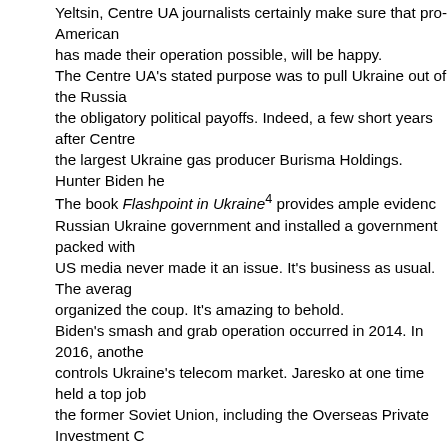Yeltsin, Centre UA journalists certainly make sure that pro-American has made their operation possible, will be happy. The Centre UA's stated purpose was to pull Ukraine out of the Russia the obligatory political payoffs. Indeed, a few short years after Centre the largest Ukraine gas producer Burisma Holdings. Hunter Biden he The book Flashpoint in Ukraine[4] provides ample evidenc Russian Ukraine government and installed a government packed with US media never made it an issue. It's business as usual. The averag organized the coup. It's amazing to behold. Biden's smash and grab operation occurred in 2014. In 2016, anothe controls Ukraine's telecom market. Jaresko at one time held a top job the former Soviet Union, including the Overseas Private Investment C IMF/World Bank /European Bank for Reconstruction and Developme Section of the US Embassy in Ukraine, and helped paved the way fo organize. Many more are planned. Jaresko acquired Ukrainian citizenship on the same day as her appoi competitor, the owner of Datagroup, out of business using the kind of That's how freewheeling capitalists work: they overload targeted nati protest from the mainstream media: it's non-political "free trade" in a The CIA plays a central but secret role in these schemes, doing the il assets reaching into a nation's secret police files or using private inve kinds of subversion operations can't be done publicly by the likes of B through the criminal underworld, and that's where the CIA comes into